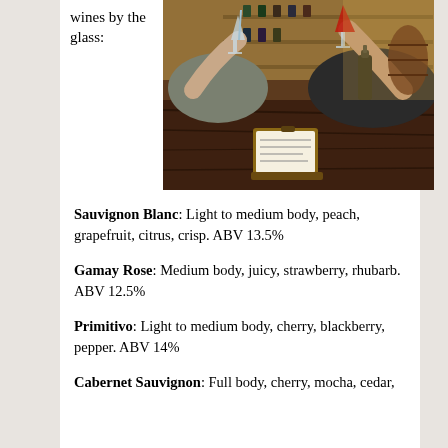wines by the glass:
[Figure (photo): Two people clinking glasses of wine over a wooden bar counter. A clipboard with a menu sits on the bar. Wine bottles and shelving visible in the background.]
Sauvignon Blanc: Light to medium body, peach, grapefruit, citrus, crisp. ABV 13.5%
Gamay Rose: Medium body, juicy, strawberry, rhubarb. ABV 12.5%
Primitivo: Light to medium body, cherry, blackberry, pepper. ABV 14%
Cabernet Sauvignon: Full body, cherry, mocha, cedar,